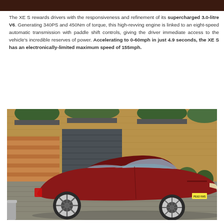[Figure (photo): Dark red/brown image bar at the top of the page, cropped photo strip]
The XE S rewards drivers with the responsiveness and refinement of its supercharged 3.0-litre V6. Generating 340PS and 450Nm of torque, this high-revving engine is linked to an eight-speed automatic transmission with paddle shift controls, giving the driver immediate access to the vehicle's incredible reserves of power. Accelerating to 0-60mph in just 4.9 seconds, the XE S has an electronically-limited maximum speed of 155mph.
[Figure (photo): A red Jaguar XE S sedan parked in front of a brick building with wooden garage doors and green topiary plants. The car is viewed from the rear three-quarter angle.]